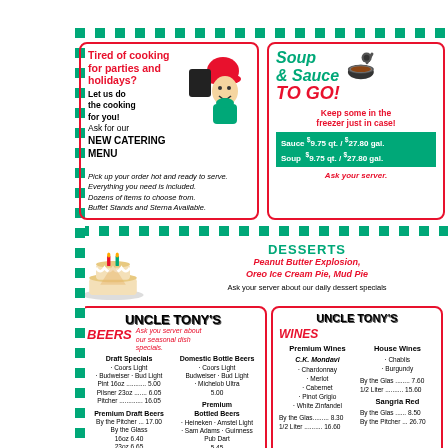[Figure (illustration): Catering promotional box with chef illustration]
Tired of cooking for parties and holidays? Let us do the cooking for you! Ask for our NEW CATERING MENU. Pick up your order hot and ready to serve. Everything you need is included. Dozens of items to choose from. Buffet Stands and Sterna Available.
[Figure (illustration): Soup and sauce to go promotional box with bowl illustration]
Soup & Sauce TO GO! Keep some in the freezer just in case! Sauce $9.75 qt. / $27.80 gal. Soup $9.75 qt. / $27.80 gal. Ask your server.
[Figure (illustration): Desserts section with cake illustration]
DESSERTS Peanut Butter Explosion, Oreo Ice Cream Pie, Mud Pie Ask your server about our daily dessert specials
UNCLE TONY'S BEERS - Draft Specials: Coors Light, Budweiser, Bud Light, Pint 16oz 5.00, Pilsner 23oz 6.05, Pitcher 16.05. Premium Draft Beers: By the Pitcher 17.00, By the Glass, 16oz 6.40, 23oz 6.65. Domestic Bottle Beers: Coors Light, Budweiser, Bud Light, Michelob Ultra 5.00. Premium Bottled Beers: Heineken, Amstel Light, Sam Adams, Guinness, Pub Dart 5.45
Beverages: Pepsi - Diet Pepsi - Mountain Dew - Ginger Ale
UNCLE TONY'S WINES - Premium Wines: C.K. Mondavi, Chardonnay, Merlot, Cabernet, Pinot Grigio, White Zinfandel. By the Glass 8.30, 1/2 Liter 16.60. House Wines: Chablis, Burgundy. By the Glass 7.60, 1/2 Liter 15.60. Sangria Red: By the Glass 8.50, By the Pitcher 26.70